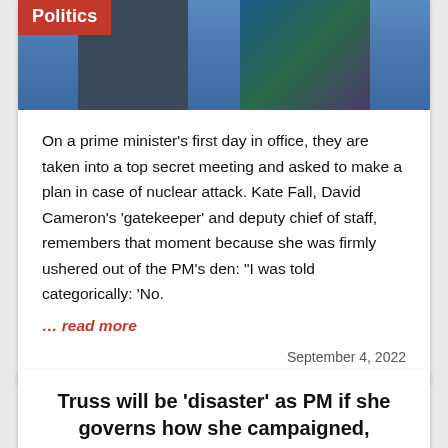[Figure (photo): Photo of two people, with a 'Politics' red badge overlaid on the bottom-left of the image]
On a prime minister’s first day in office, they are taken into a top secret meeting and asked to make a plan in case of nuclear attack. Kate Fall, David Cameron’s ‘gatekeeper’ and deputy chief of staff, remembers that moment because she was firmly ushered out of the PM’s den: “I was told categorically: ‘No.
… read more
September 4, 2022
Truss will be ‘disaster’ as PM if she governs how she campaigned, Sturgeon